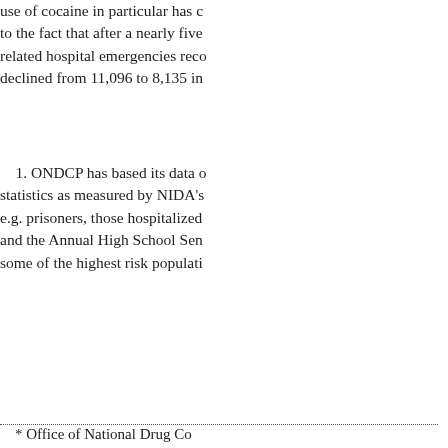use of cocaine in particular has [continued, due] to the fact that after a nearly five [year period of] related hospital emergencies rec[overed, they] declined from 11,096 to 8,135 in[...]
1. ONDCP has based its data o[n household] statistics as measured by NIDA's[...] e.g. prisoners, those hospitalized[...] and the Annual High School Sen[ior Survey] some of the highest risk populati[ons...]
* Office of National Drug Co[ntrol Policy]
2. The use of drugs, especially[...] Department, there are as many fr[om outside] the entire U.S. population,5 beca[use of] institutionalized populations.
3. Prevention strategies do see[m to work as] drug use has declined significant[ly, but the rate] of addiction has not decreased. N[oting that] people and people of color, are b[eing served by] inappropriate for these communi[ties through] the community.
4. Research indicates that the [...] development and implementatio[n of...]